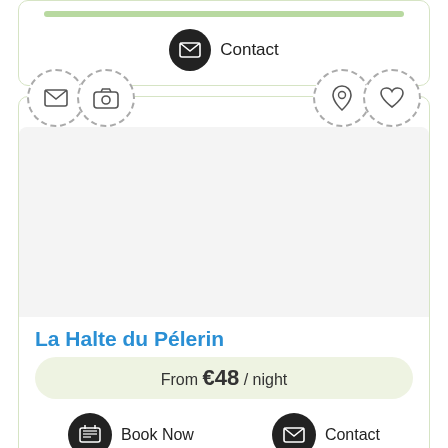[Figure (screenshot): Top listing card with green bar and Contact button with envelope icon]
Contact
[Figure (screenshot): Listing card for La Halte du Pélerin with dashed circle icons (mail, camera, location pin, heart), photo area, title, price, Book Now and Contact buttons]
La Halte du Pélerin
From €48 / night
Book Now
Contact
[Figure (screenshot): Bottom listing card stub showing dashed circle icons row (mail, camera, location, heart)]